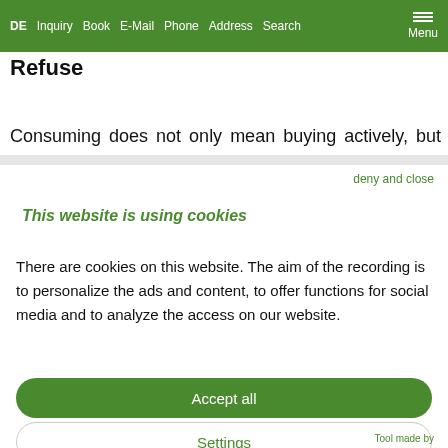DE  Inquiry  Book  E-Mail  Phone  Address  Search  Menu
Refuse
Consuming does not only mean buying actively, but
deny and close
This website is using cookies
There are cookies on this website. The aim of the recording is to personalize the ads and content, to offer functions for social media and to analyze the access on our website.
Accept all
Settings
Tool made by